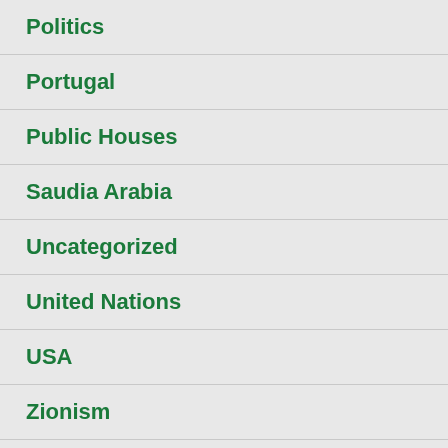Politics
Portugal
Public Houses
Saudia Arabia
Uncategorized
United Nations
USA
Zionism
META